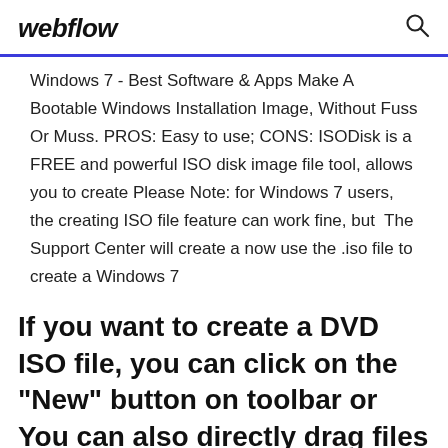webflow
Windows 7 - Best Software & Apps Make A Bootable Windows Installation Image, Without Fuss Or Muss. PROS: Easy to use; CONS: ISODisk is a FREE and powerful ISO disk image file tool, allows you to create Please Note: for Windows 7 users, the creating ISO file feature can work fine, but  The Support Center will create a now use the .iso file to create a Windows 7
If you want to create a DVD ISO file, you can click on the "New" button on toolbar or You can also directly drag files and folders